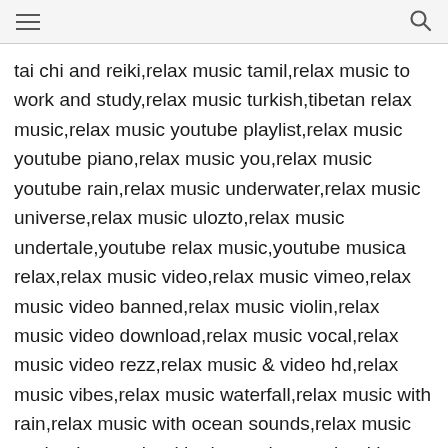[hamburger menu icon] [search icon]
tai chi and reiki,relax music tamil,relax music to work and study,relax music turkish,tibetan relax music,relax music youtube playlist,relax music youtube piano,relax music you,relax music youtube rain,relax music underwater,relax music universe,relax music ulozto,relax music undertale,youtube relax music,youtube musica relax,relax music video,relax music vimeo,relax music video banned,relax music violin,relax music video download,relax music vocal,relax music video rezz,relax music & video hd,relax music vibes,relax music waterfall,relax music with rain,relax music with ocean sounds,relax music work,relax music with piano,relax music with birds,relax music with guitar,relax music waves,relax music website,relax xmas music,musica x relax,relax music yoga,relax music yiruma,relax music yanni,relax music yellow brick,relax yoga music app,music relax your mind,relax music y,music y relax daniela,musica y relax,relax music zen,relax music zen garden,relax music zoolander,relax music zelda,relax music zoutube,relax music zo stroke sleep music relax zone relax buddhist meditation music